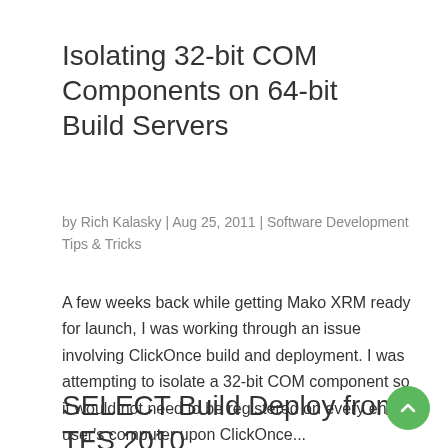Isolating 32-bit COM Components on 64-bit Build Servers
by Rich Kalasky | Aug 25, 2011 | Software Development Tips & Tricks
A few weeks back while getting Mako XRM ready for launch, I was working through an issue involving ClickOnce build and deployment. I was attempting to isolate a 32-bit COM component so it would not need to be registered on every end-user's computer upon ClickOnce...
SELECT Build Deploy from TFS 2010